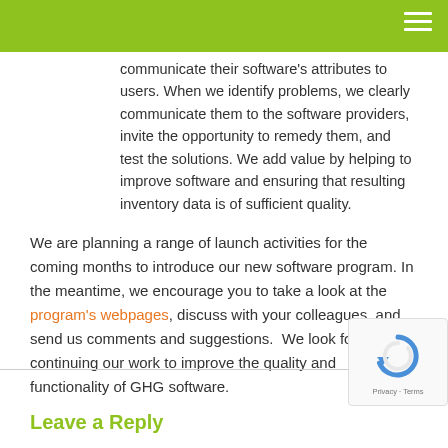communicate their software's attributes to users. When we identify problems, we clearly communicate them to the software providers, invite the opportunity to remedy them, and test the solutions. We add value by helping to improve software and ensuring that resulting inventory data is of sufficient quality.
We are planning a range of launch activities for the coming months to introduce our new software program. In the meantime, we encourage you to take a look at the program's webpages, discuss with your colleagues, and send us comments and suggestions. We look forward to continuing our work to improve the quality and functionality of GHG software.
Leave a Reply